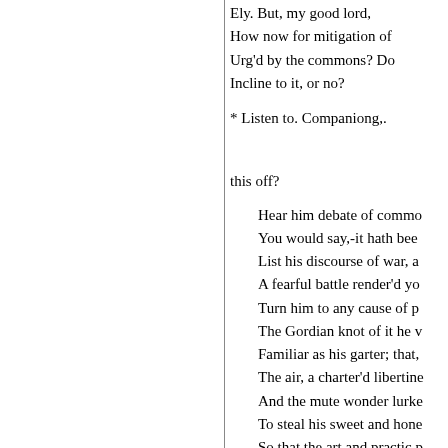Ely. But, my good lord,
How now for mitigation of
Urg'd by the commons? Do
Incline to it, or no?
* Listen to. Companiong,.
this off?
Hear him debate of commo
You would say,-it hath bee
List his discourse of war, a
A fearful battle render'd yo
Turn him to any cause of p
The Gordian knot of it he v
Familiar as his garter; that,
The air, a charter'd libertine
And the mute wonder lurke
To steal his sweet and hone
So that the art and practic p
Must be the mistress to this
Which is a wonder how his